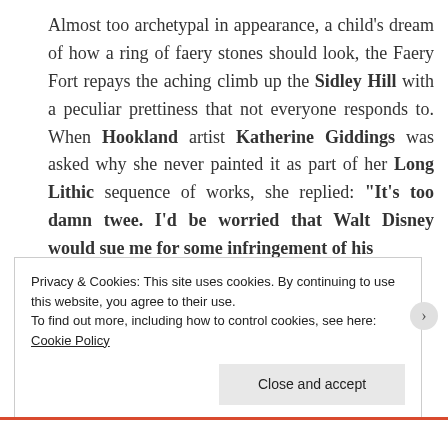Almost too archetypal in appearance, a child's dream of how a ring of faery stones should look, the Faery Fort repays the aching climb up the Sidley Hill with a peculiar prettiness that not everyone responds to. When Hookland artist Katherine Giddings was asked why she never painted it as part of her Long Lithic sequence of works, she replied: “It’s too damn twee. I’d be worried that Walt Disney would sue me for some infringement of his
Privacy & Cookies: This site uses cookies. By continuing to use this website, you agree to their use.
To find out more, including how to control cookies, see here: Cookie Policy